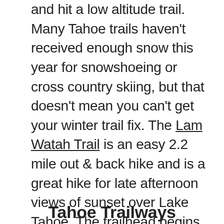and hit a low altitude trail. Many Tahoe trails haven't received enough snow this year for snowshoeing or cross country skiing, but that doesn't mean you can't get your winter trail fix. The Lam Watah Trail is an easy 2.2 mile out & back hike and is a great hike for late afternoon views of sunset over Lake Tahoe. The trailhead begins on the corner of Khale Lane and Hwy 50 that meanders through Lam Watah meadows for about a mile before ending at Nevada Beach. Another easy hike, although a bit higher in elevation, is the 2 mile round-trip hike to Cascade Falls near Emerald Bay. Take the Bayview Trailhead for gorgeous views of the falls.
Tahoe Trailways